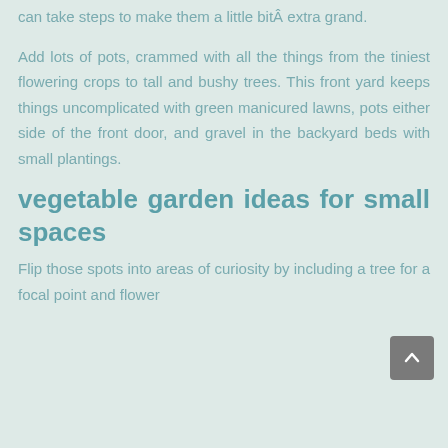can take steps to make them a little bitÂ extra grand.
Add lots of pots, crammed with all the things from the tiniest flowering crops to tall and bushy trees. This front yard keeps things uncomplicated with green manicured lawns, pots either side of the front door, and gravel in the backyard beds with small plantings.
vegetable garden ideas for small spaces
Flip those spots into areas of curiosity by including a tree for a focal point and flower